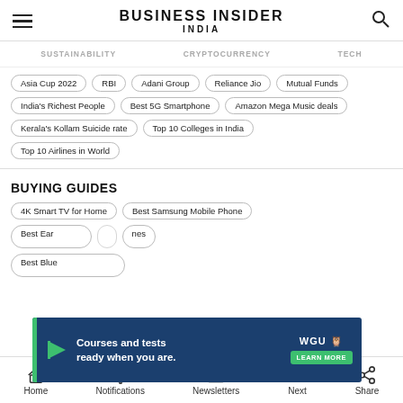BUSINESS INSIDER INDIA
SUSTAINABILITY
CRYPTOCURRENCY
TECH
Asia Cup 2022
RBI
Adani Group
Reliance Jio
Mutual Funds
India's Richest People
Best 5G Smartphone
Amazon Mega Music deals
Kerala's Kollam Suicide rate
Top 10 Colleges in India
Top 10 Airlines in World
BUYING GUIDES
4K Smart TV for Home
Best Samsung Mobile Phone
Best Earphones
Best Bluetooth Speakers
[Figure (screenshot): WGU advertisement banner: Courses and tests ready when you are. LEARN MORE]
Home  Notifications  Newsletters  Next  Share